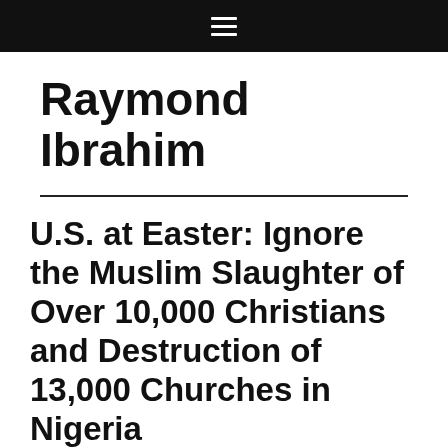≡
Raymond Ibrahim
U.S. at Easter: Ignore the Muslim Slaughter of Over 10,000 Christians and Destruction of 13,000 Churches in Nigeria